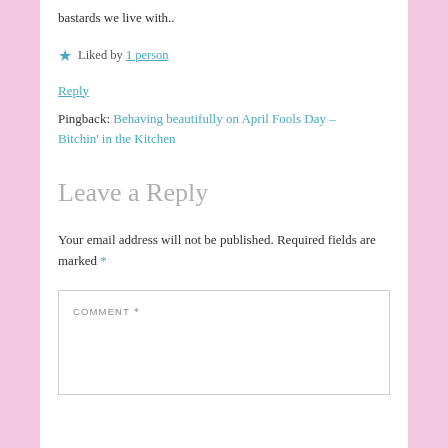bastards we live with..
★ Liked by 1 person
Reply
Pingback: Behaving beautifully on April Fools Day – Bitchin' in the Kitchen
Leave a Reply
Your email address will not be published. Required fields are marked *
COMMENT *